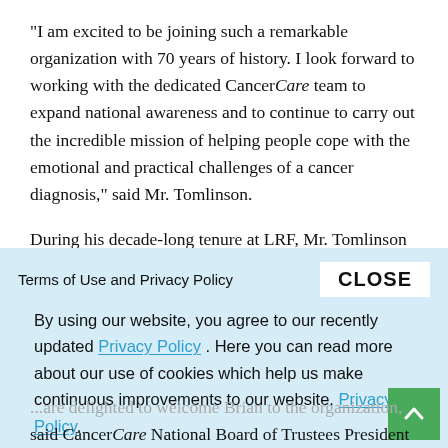“I am excited to be joining such a remarkable organization with 70 years of history. I look forward to working with the dedicated CancerCare team to expand national awareness and to continue to carry out the incredible mission of helping people cope with the emotional and practical challenges of a cancer diagnosis,” said Mr. Tomlinson.
During his decade-long tenure at LRF, Mr. Tomlinson served as member of the executive leadership team and
Terms of Use and Privacy Policy
CLOSE
By using our website, you agree to our recently updated Privacy Policy . Here you can read more about our use of cookies which help us make continuous improvements to our website. Privacy Policy.
...are delighted to welcome Brian to the organization, said CancerCare National Board of Trustees President